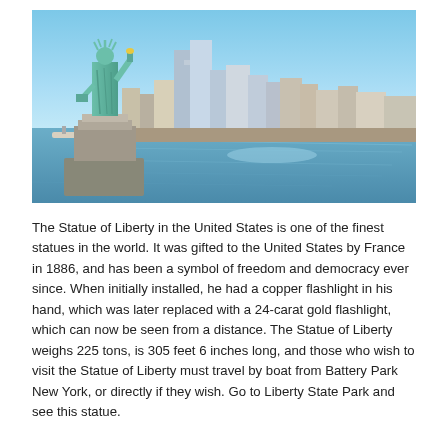[Figure (photo): Photograph of the Statue of Liberty in the foreground with the Manhattan skyline and harbor water in the background under a clear blue sky.]
The Statue of Liberty in the United States is one of the finest statues in the world. It was gifted to the United States by France in 1886, and has been a symbol of freedom and democracy ever since. When initially installed, he had a copper flashlight in his hand, which was later replaced with a 24-carat gold flashlight, which can now be seen from a distance. The Statue of Liberty weighs 225 tons, is 305 feet 6 inches long, and those who wish to visit the Statue of Liberty must travel by boat from Battery Park New York, or directly if they wish. Go to Liberty State Park and see this statue.